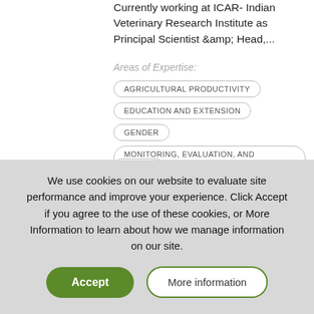Currently working at ICAR- Indian Veterinary Research Institute as Principal Scientist &amp; Head,...
Areas of Expertise:
AGRICULTURAL PRODUCTIVITY
EDUCATION AND EXTENSION
GENDER
MONITORING, EVALUATION, AND LEARNING
We use cookies on our website to evaluate site performance and improve your experience. Click Accept if you agree to the use of these cookies, or More Information to learn about how we manage information on our site.
Accept
More information